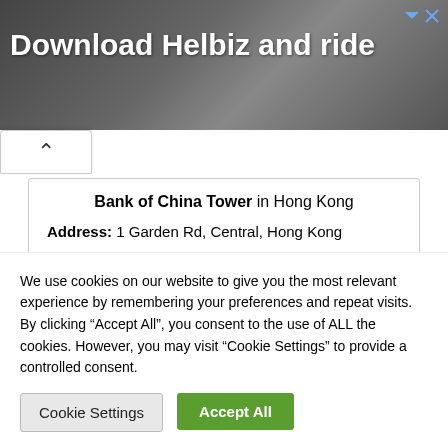[Figure (screenshot): Advertisement banner for Helbiz app with text 'Download Helbiz and ride' on a dark background showing a scooter handlebar]
Bank of China Tower in Hong Kong
Address: 1 Garden Rd, Central, Hong Kong
Almas Tower in Dubai
Address: Jumeirah Lake Towers, Dubai, United Arab
We use cookies on our website to give you the most relevant experience by remembering your preferences and repeat visits. By clicking “Accept All”, you consent to the use of ALL the cookies. However, you may visit “Cookie Settings” to provide a controlled consent.